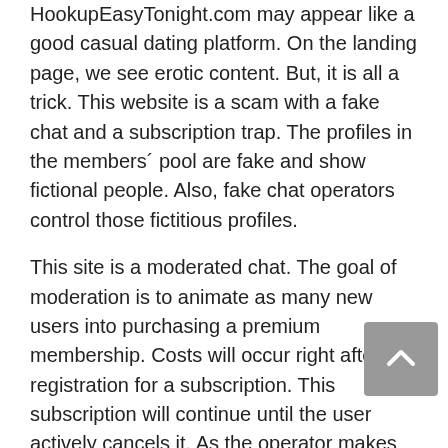HookupEasyTonight.com may appear like a good casual dating platform. On the landing page, we see erotic content. But, it is all a trick. This website is a scam with a fake chat and a subscription trap. The profiles in the members´ pool are fake and show fictional people. Also, fake chat operators control those fictitious profiles.
This site is a moderated chat. The goal of moderation is to animate as many new users into purchasing a premium membership. Costs will occur right after the registration for a subscription. This subscription will continue until the user actively cancels it. As the operator makes that difficult, it is a subscription rip-off. That is reported in reviews from former users. The operator of the site is Aridasl Ltd, which is based in Nicosia, Cyprus.
Scroll down to read the details of our